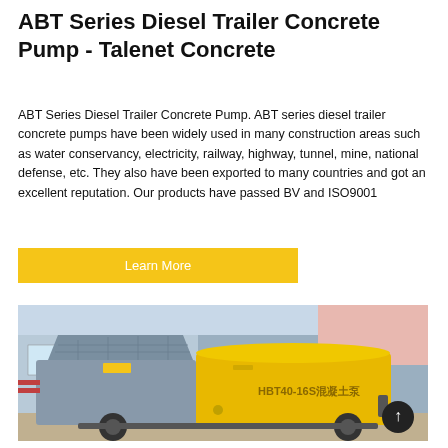ABT Series Diesel Trailer Concrete Pump - Talenet Concrete
ABT Series Diesel Trailer Concrete Pump. ABT series diesel trailer concrete pumps have been widely used in many construction areas such as water conservancy, electricity, railway, highway, tunnel, mine, national defense, etc. They also have been exported to many countries and got an excellent reputation. Our products have passed BV and ISO9001
Learn More
[Figure (photo): Photo of an HBT40-16S diesel trailer concrete pump (混凝土泵), showing a grey hopper/feed section on the left and a yellow engine housing on the right, parked outdoors at a construction facility.]